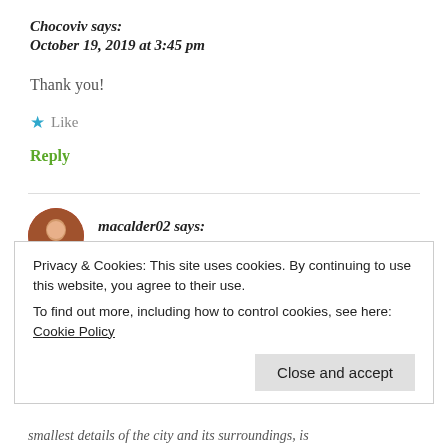Chocoviv says:
October 19, 2019 at 3:45 pm
Thank you!
★ Like
Reply
macalder02 says:
Privacy & Cookies: This site uses cookies. By continuing to use this website, you agree to their use.
To find out more, including how to control cookies, see here: Cookie Policy
Close and accept
smallest details of the city and its surroundings, is